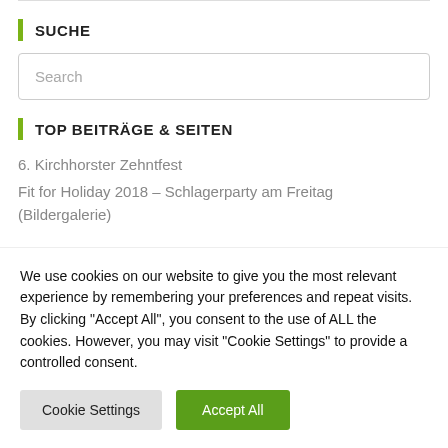SUCHE
Search
TOP BEITRÄGE & SEITEN
6. Kirchhorster Zehntfest
Fit for Holiday 2018 – Schlagerparty am Freitag
(Bildergalerie)
We use cookies on our website to give you the most relevant experience by remembering your preferences and repeat visits. By clicking "Accept All", you consent to the use of ALL the cookies. However, you may visit "Cookie Settings" to provide a controlled consent.
Cookie Settings
Accept All